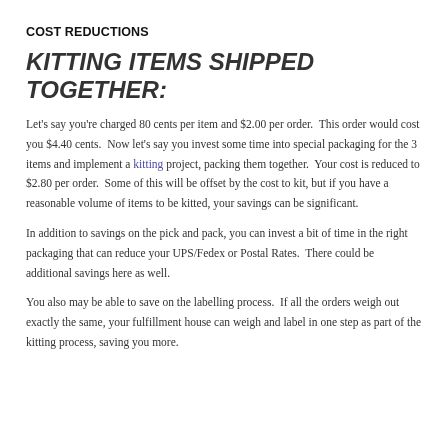COST REDUCTIONS
KITTING ITEMS SHIPPED TOGETHER:
Let's say you're charged 80 cents per item and $2.00 per order.  This order would cost you $4.40 cents.  Now let's say you invest some time into special packaging for the 3 items and implement a kitting project, packing them together.  Your cost is reduced to $2.80 per order.  Some of this will be offset by the cost to kit, but if you have a reasonable volume of items to be kitted, your savings can be significant.
In addition to savings on the pick and pack, you can invest a bit of time in the right packaging that can reduce your UPS/Fedex or Postal Rates.  There could be additional savings here as well.
You also may be able to save on the labelling process.  If all the orders weigh out exactly the same, your fulfillment house can weigh and label in one step as part of the kitting process, saving you more.